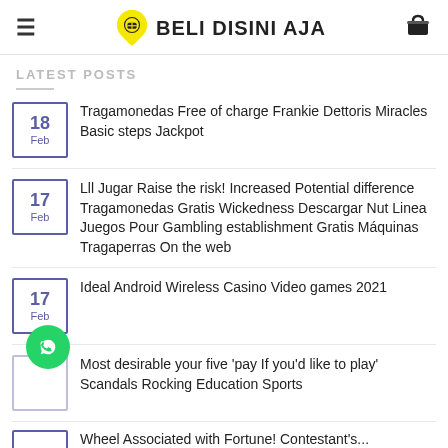Beli Disini Aja
LATEST POSTS
Tragamonedas Free of charge Frankie Dettoris Miracles Basic steps Jackpot
Lll Jugar Raise the risk! Increased Potential difference Tragamonedas Gratis Wickedness Descargar Nut Linea Juegos Pour Gambling establishment Gratis Máquinas Tragaperras On the web
Ideal Android Wireless Casino Video games 2021
Most desirable your five 'pay If you'd like to play' Scandals Rocking Education Sports
Wheel Associated with Fortune! Contestant's...